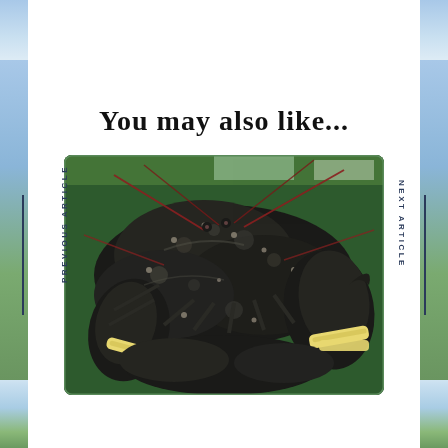You may also like...
[Figure (photo): Photo of live lobsters with bound claws piled together in a green container, shot from close up showing dark mottled shells and rubber band restraints on their claws.]